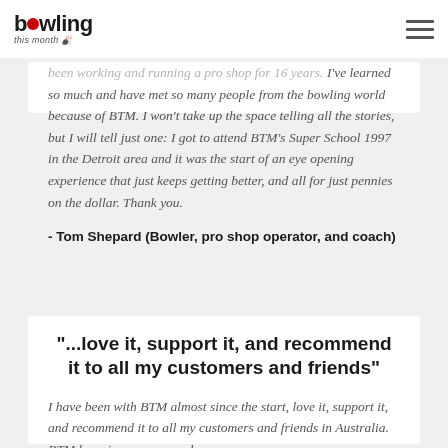bowling this month
been working and running a pro shop for 16 years. I've learned so much and have met so many people from the bowling world because of BTM. I won't take up the space telling all the stories, but I will tell just one: I got to attend BTM's Super School 1997 in the Detroit area and it was the start of an eye opening experience that just keeps getting better, and all for just pennies on the dollar. Thank you.
- Tom Shepard (Bowler, pro shop operator, and coach)
"...love it, support it, and recommend it to all my customers and friends"
I have been with BTM almost since the start, love it, support it, and recommend it to all my customers and friends in Australia. BTM has given me so much